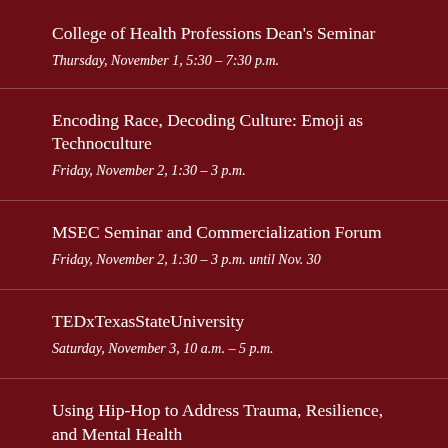College of Health Professions Dean's Seminar
Thursday, November 1, 5:30 – 7:30 p.m.
Encoding Race, Decoding Culture: Emoji as Technoculture
Friday, November 2, 1:30 – 3 p.m.
MSEC Seminar and Commercialization Forum
Friday, November 2, 1:30 – 3 p.m. until Nov. 30
TEDxTexasStateUniversity
Saturday, November 3, 10 a.m. – 5 p.m.
Using Hip-Hop to Address Trauma, Resilience, and Mental Health
Monday, November 5, 11 a.m. – 2 p.m.